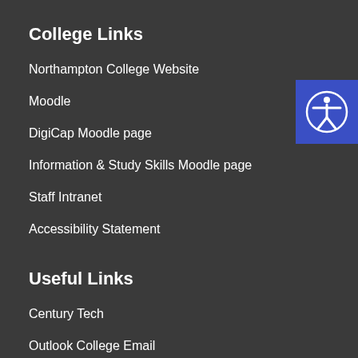College Links
Northampton College Website
Moodle
DigiCap Moodle page
Information & Study Skills Moodle page
Staff Intranet
Accessibility Statement
Useful Links
Century Tech
Outlook College Email
Office 365